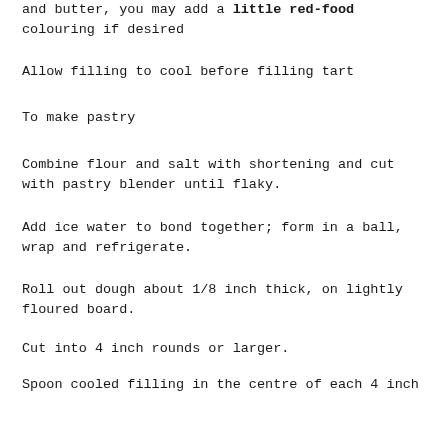and butter, you may add a little red-food colouring if desired
Allow filling to cool before filling tart
To make pastry
Combine flour and salt with shortening and cut with pastry blender until flaky.
Add ice water to bond together; form in a ball, wrap and refrigerate.
Roll out dough about 1/8 inch thick, on lightly floured board.
Cut into 4 inch rounds or larger.
Spoon cooled filling in the centre of each 4 inch round, fold over and seal with crimper or the prongs of fork.
Place on a baking sheet.
Brush tops with a little milk and prick top with the fork.
Bake at 450°F for 10 minutes and reduce heat to